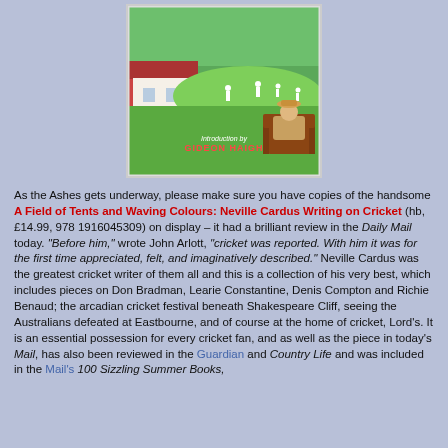[Figure (illustration): Book cover for 'A Field of Tents and Waving Colours: Neville Cardus Writing on Cricket' with an illustration of a cricket match and a man sitting in a chair watching, with 'Introduction by Gideon Haigh' text on the cover.]
As the Ashes gets underway, please make sure you have copies of the handsome A Field of Tents and Waving Colours: Neville Cardus Writing on Cricket (hb, £14.99, 978 1916045309) on display – it had a brilliant review in the Daily Mail today. "Before him," wrote John Arlott, "cricket was reported. With him it was for the first time appreciated, felt, and imaginatively described." Neville Cardus was the greatest cricket writer of them all and this is a collection of his very best, which includes pieces on Don Bradman, Learie Constantine, Denis Compton and Richie Benaud; the arcadian cricket festival beneath Shakespeare Cliff, seeing the Australians defeated at Eastbourne, and of course at the home of cricket, Lord's. It is an essential possession for every cricket fan, and as well as the piece in today's Mail, has also been reviewed in the Guardian and Country Life and was included in the Mail's 100 Sizzling Summer Books,